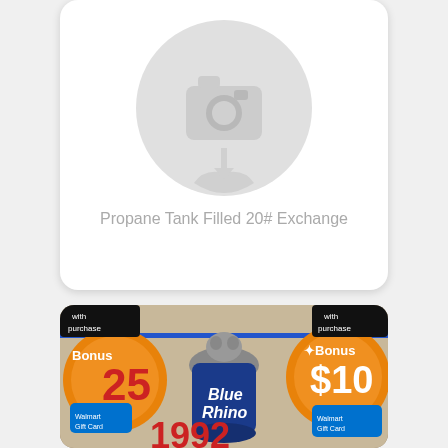[Figure (photo): Product listing card with placeholder camera icon for a propane tank product on white rounded card background]
Propane Tank Filled 20# Exchange
[Figure (photo): Photo of Blue Rhino propane tank advertisement showing Walmart bonus gift card offers of $25 and $10 with purchase, price shown as 1992, blue and orange promotional badges]